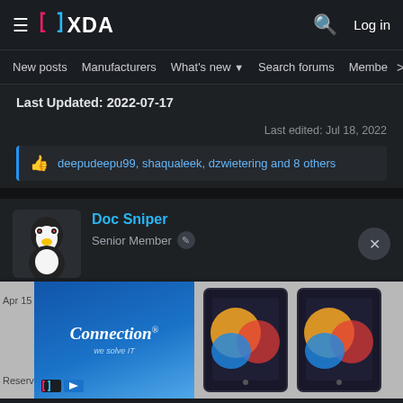XDA Forums navigation bar with logo, search, and Log in
New posts  Manufacturers  What's new  Search forums  Members >
Last Updated: 2022-07-17
Last edited: Jul 18, 2022
deepudeepu99, shaqualeek, dzwietering and 8 others
Doc Sniper
Senior Member
[Figure (screenshot): Advertisement banner for Connection (we solve IT) with two iPad 9th generation tablets shown]
Reserved